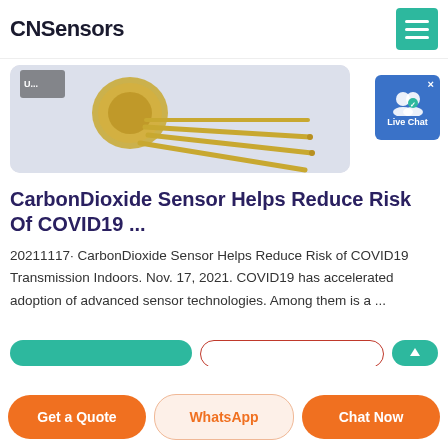CNSensors
[Figure (photo): Close-up photo of a gold-leaded electronic sensor component (TO-can style) on a light purple/grey background, showing gold pins and a metallic cap]
CarbonDioxide Sensor Helps Reduce Risk Of COVID19 ...
20211117· CarbonDioxide Sensor Helps Reduce Risk of COVID19 Transmission Indoors. Nov. 17, 2021. COVID19 has accelerated adoption of advanced sensor technologies. Among them is a ...
Get a Quote | WhatsApp | Chat Now